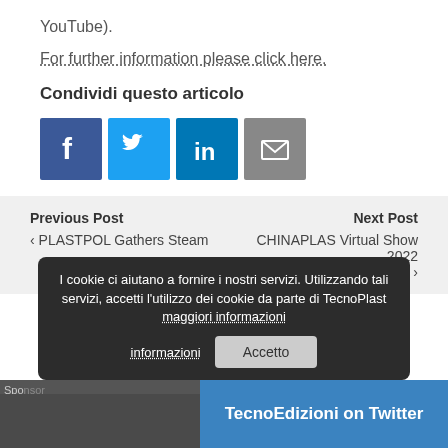YouTube).
For further information please click here.
Condividi questo articolo
[Figure (infographic): Social sharing icons: Facebook (blue), Twitter (light blue), LinkedIn (dark blue), Email (grey)]
Previous Post
‹ PLASTPOL Gathers Steam
Next Post
CHINAPLAS Virtual Show 2022 Is Around The Corner! ›
Sponsor
I cookie ci aiutano a fornire i nostri servizi. Utilizzando tali servizi, accetti l'utilizzo dei cookie da parte di TecnoPlast maggiori informazioni   Accetto
TecnoEdizioni on Twitter